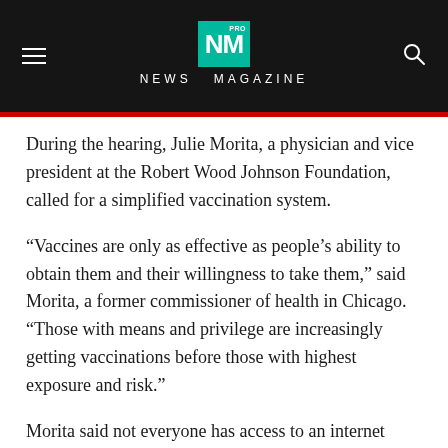NM PRO NEWS MAGAZINE
During the hearing, Julie Morita, a physician and vice president at the Robert Wood Johnson Foundation, called for a simplified vaccination system.
“Vaccines are only as effective as people’s ability to obtain them and their willingness to take them,” said Morita, a former commissioner of health in Chicago. “Those with means and privilege are increasingly getting vaccinations before those with highest exposure and risk.”
Morita said not everyone has access to an internet connection to make an appointment online or a car to drive to a large vaccination site. She said that states not only need more public health resources but that more federal coordination is needed to ensure that the vaccine is provided